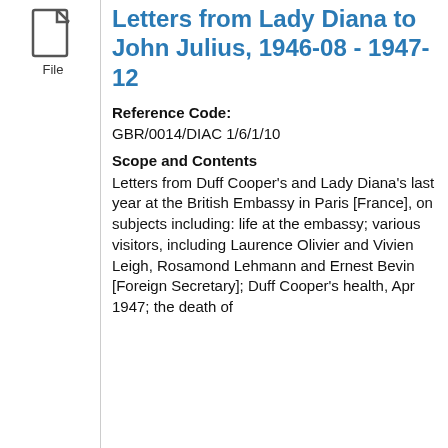[Figure (illustration): File icon (document/folder icon) with label 'File' below it]
Letters from Lady Diana to John Julius, 1946-08 - 1947-12
Reference Code: GBR/0014/DIAC 1/6/1/10
Scope and Contents
Letters from Duff Cooper's and Lady Diana's last year at the British Embassy in Paris [France], on subjects including: life at the embassy; various visitors, including Laurence Olivier and Vivien Leigh, Rosamond Lehmann and Ernest Bevin [Foreign Secretary]; Duff Cooper's health, Apr 1947; the death of